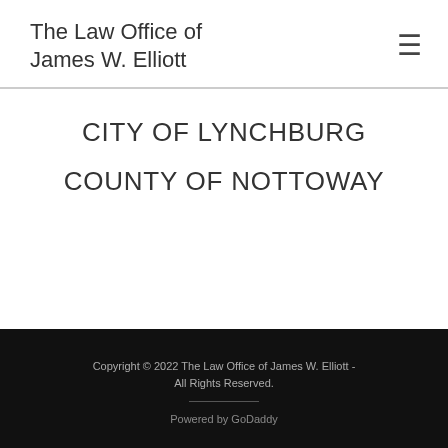The Law Office of James W. Elliott
CITY OF LYNCHBURG
COUNTY OF NOTTOWAY
Copyright © 2022 The Law Office of James W. Elliott - All Rights Reserved.
Powered by GoDaddy